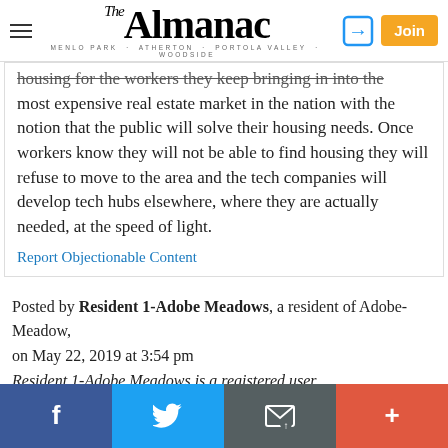The Almanac — MENLO PARK · ATHERTON · PORTOLA VALLEY · WOODSIDE
housing for the workers they keep bringing in into the most expensive real estate market in the nation with the notion that the public will solve their housing needs. Once workers know they will not be able to find housing they will refuse to move to the area and the tech companies will develop tech hubs elsewhere, where they are actually needed, at the speed of light.
Report Objectionable Content
Posted by Resident 1-Adobe Meadows, a resident of Adobe-Meadow, on May 22, 2019 at 3:54 pm Resident 1-Adobe Meadows is a registered user.
Facebook | Twitter | Email | +